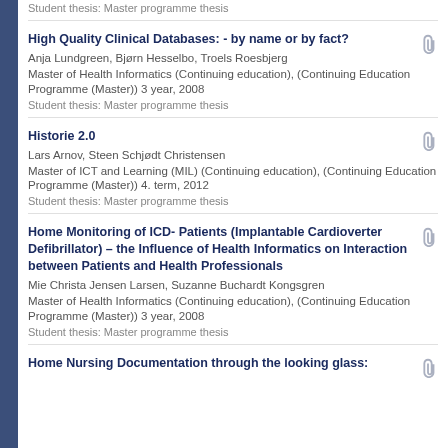Student thesis: Master programme thesis
High Quality Clinical Databases: - by name or by fact?
Anja Lundgreen, Bjørn Hesselbo, Troels Roesbjerg
Master of Health Informatics (Continuing education), (Continuing Education Programme (Master)) 3 year, 2008
Student thesis: Master programme thesis
Historie 2.0
Lars Arnov, Steen Schjødt Christensen
Master of ICT and Learning (MIL) (Continuing education), (Continuing Education Programme (Master)) 4. term, 2012
Student thesis: Master programme thesis
Home Monitoring of ICD- Patients (Implantable Cardioverter Defibrillator) – the Influence of Health Informatics on Interaction between Patients and Health Professionals
Mie Christa Jensen Larsen, Suzanne Buchardt Kongsgren
Master of Health Informatics (Continuing education), (Continuing Education Programme (Master)) 3 year, 2008
Student thesis: Master programme thesis
Home Nursing Documentation through the looking glass: